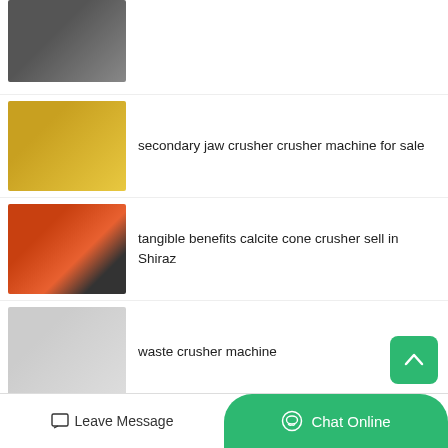[Figure (photo): Industrial crusher machine, partial view at top of page]
[Figure (photo): Yellow secondary jaw crusher machine]
secondary jaw crusher crusher machine for sale
[Figure (photo): Orange forklift near cone crusher equipment in industrial yard]
tangible benefits calcite cone crusher sell in Shiraz
[Figure (photo): Waste crusher machine with large flywheels]
waste crusher machine
[Figure (photo): Gypsum Powder Making Raymond Roller Mill, partially visible]
Gypsum Powder Making Raymond Roller Mill
Leave Message
Chat Online